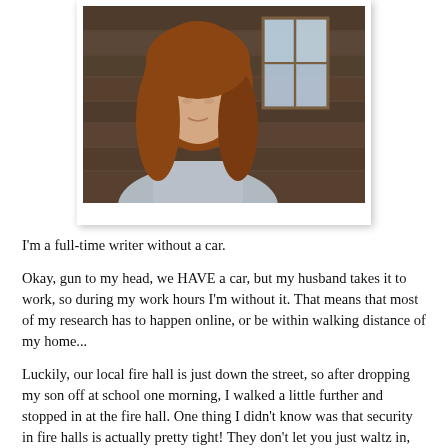[Figure (photo): A woman with long reddish-brown hair wearing a grey top, standing in front of a rustic wooden wall with a window, photographed in a polaroid-style frame]
I'm a full-time writer without a car.
Okay, gun to my head, we HAVE a car, but my husband takes it to work, so during my work hours I'm without it. That means that most of my research has to happen online, or be within walking distance of my home...
Luckily, our local fire hall is just down the street, so after dropping my son off at school one morning, I walked a little further and stopped in at the fire hall. One thing I didn't know was that security in fire halls is actually pretty tight! They don't let you just waltz in,